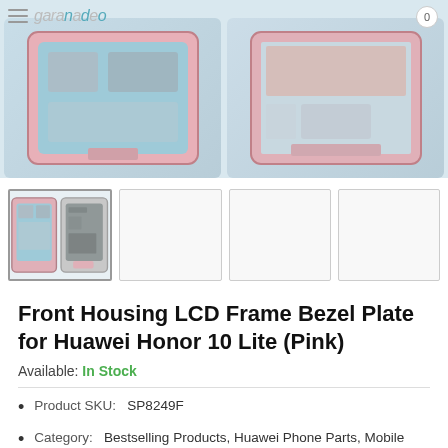[Figure (photo): Two smartphone front housing LCD frame bezel plates side by side shown from the front and back, pink color, on a light blue background. Website header with hamburger menu, garnetrade logo, and cart icon visible.]
[Figure (photo): Thumbnail row with four product image thumbnails. First thumbnail shows two pink LCD frame bezel plates for Huawei Honor 10 Lite. Remaining three thumbnails are blank/empty with grey borders.]
Front Housing LCD Frame Bezel Plate for Huawei Honor 10 Lite (Pink)
Available: In Stock
Product SKU:   SP8249F
Category:   Bestselling Products, Huawei Phone Parts, Mobile Phone Parts, New Arrivals, Repair & Spare Parts